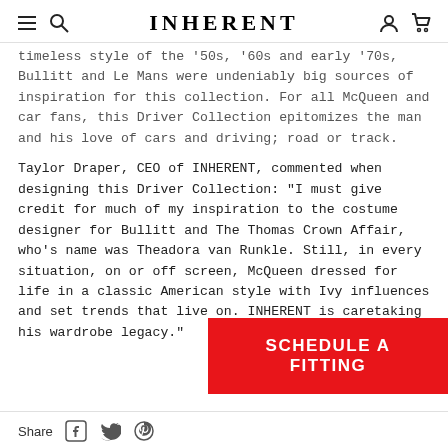INHERENT
timeless style of the '50s, '60s and early '70s, Bullitt and Le Mans were undeniably big sources of inspiration for this collection. For all McQueen and car fans, this Driver Collection epitomizes the man and his love of cars and driving; road or track.
Taylor Draper, CEO of INHERENT, commented when designing this Driver Collection: "I must give credit for much of my inspiration to the costume designer for Bullitt and The Thomas Crown Affair, who's name was Theadora van Runkle. Still, in every situation, on or off screen, McQueen dressed for life in a classic American style with Ivy influences and set trends that live on. INHERENT is caretaking his wardrobe legacy."
SCHEDULE A FITTING
Share